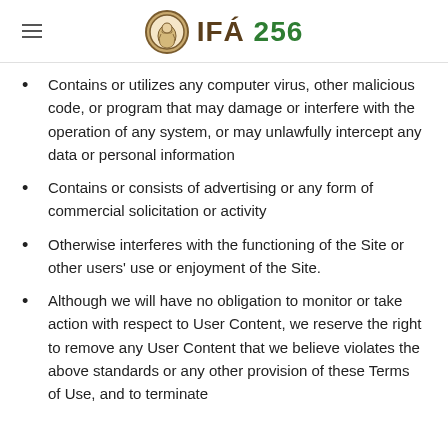IFÁ 256
Contains or utilizes any computer virus, other malicious code, or program that may damage or interfere with the operation of any system, or may unlawfully intercept any data or personal information
Contains or consists of advertising or any form of commercial solicitation or activity
Otherwise interferes with the functioning of the Site or other users' use or enjoyment of the Site.
Although we will have no obligation to monitor or take action with respect to User Content, we reserve the right to remove any User Content that we believe violates the above standards or any other provision of these Terms of Use, and to terminate